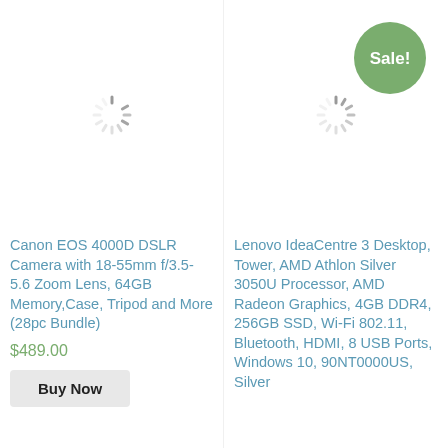[Figure (other): Green circular sale badge with white text 'Sale!']
[Figure (other): Loading spinner icon for product image (Canon camera)]
[Figure (other): Loading spinner icon for product image (Lenovo desktop)]
Canon EOS 4000D DSLR Camera with 18-55mm f/3.5-5.6 Zoom Lens, 64GB Memory,Case, Tripod and More (28pc Bundle)
$489.00
Buy Now
Lenovo IdeaCentre 3 Desktop, Tower, AMD Athlon Silver 3050U Processor, AMD Radeon Graphics, 4GB DDR4, 256GB SSD, Wi-Fi 802.11, Bluetooth, HDMI, 8 USB Ports, Windows 10, 90NT0000US, Silver